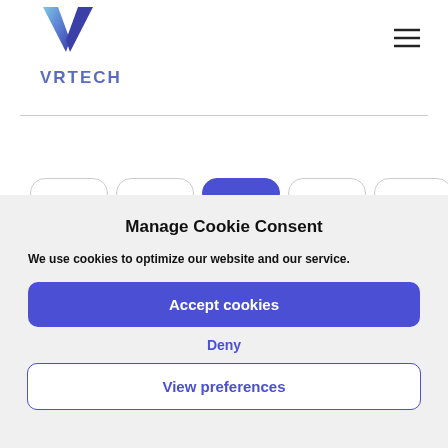[Figure (logo): VRTECH logo with blue V-shaped icon and text VRTECH below]
[Figure (illustration): Hamburger menu icon (three horizontal lines) in top right corner]
Manage Cookie Consent
We use cookies to optimize our website and our service.
Accept cookies
Deny
View preferences